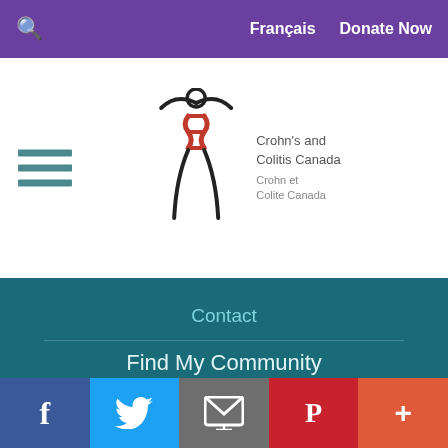🔍  Français   Donate Now
[Figure (logo): Crohn's and Colitis Canada / Crohn et Colite Canada logo with stylized human figure]
Contact
Find My Community
Sitemap
[Figure (logo): Imagine Canada Standards Program Trustmark badge — circular badge reading 'Strong Charities, Strong Communities · Accredited Since 2014 · Imagine Canada']
The Standards Program Trustmark is a mark of Imagine Canada used under licence by Crohn's and Colitis Canada.
f  🐦  ✉  P  +